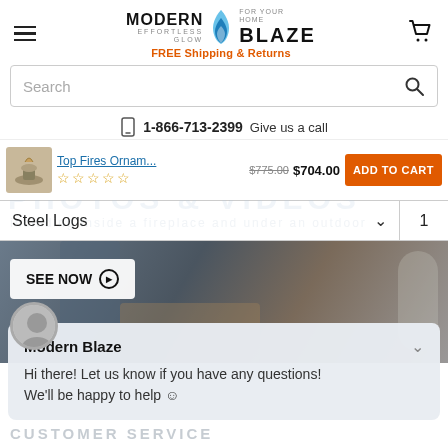[Figure (logo): Modern Blaze logo with flame icon and tagline 'Effortless Glow / For Your Home']
FREE Shipping & Returns
Search
1-866-713-2399 Give us a call
Top Fires Ornam... $775.00 $704.00
ADD TO CART
Steel Logs 1
SEE NOW
Modern Blaze
Hi there! Let us know if you have any questions! We'll be happy to help ☺
CUSTOMER SERVICE